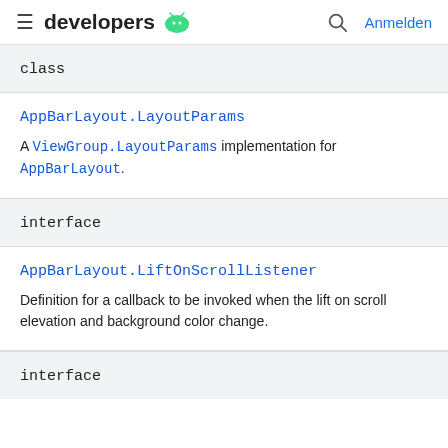developers [android logo] | [search] Anmelden
class
AppBarLayout.LayoutParams
A ViewGroup.LayoutParams implementation for AppBarLayout.
interface
AppBarLayout.LiftOnScrollListener
Definition for a callback to be invoked when the lift on scroll elevation and background color change.
interface